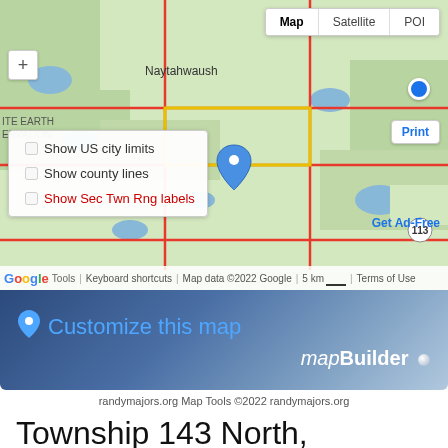[Figure (map): Google Maps view showing Naytahwaush area with map/satellite/POI toolbar, zoom controls, overlay menu with checkboxes for Show US city limits, Show county lines, Show Sec Twn Rng labels, location dot, Print button, Get Ad-Free link, Google logo and map data attribution bar with scale]
[Figure (infographic): Blue gradient banner with map pin icon reading 'Customize this map' and 'mapBuilder' branding with dot]
randymajors.org Map Tools ©2022 randymajors.org
Township 143 North, Range 38 West, 5th Principal Meridian